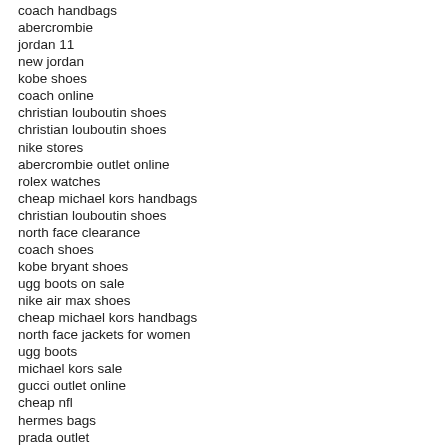coach handbags
abercrombie
jordan 11
new jordan
kobe shoes
coach online
christian louboutin shoes
christian louboutin shoes
nike stores
abercrombie outlet online
rolex watches
cheap michael kors handbags
christian louboutin shoes
north face clearance
coach shoes
kobe bryant shoes
ugg boots on sale
nike air max shoes
cheap michael kors handbags
north face jackets for women
ugg boots
michael kors sale
gucci outlet online
cheap nfl
hermes bags
prada outlet
coach purses outlet
timberland shoes
jordan 14
oakley sunglasses outlet